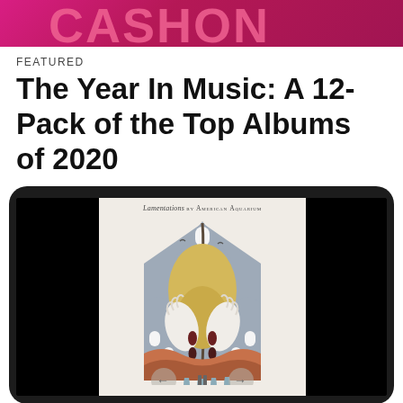[Figure (photo): Top portion of a website header image with pink/magenta stylized text partially visible at the top]
FEATURED
The Year In Music: A 12-Pack of the Top Albums of 2020
[Figure (illustration): Tablet device displaying album artwork for 'Lamentations by American Aquarium' — a stylized illustration of a figure with blonde hair, hands raised, set within a house/church shape with decorative elements in muted earth tones and grey-blue]